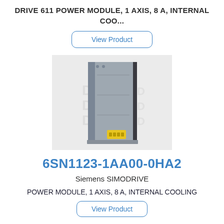DRIVE 611 POWER MODULE, 1 AXIS, 8 A, INTERNAL COO...
View Product
[Figure (photo): Siemens SIMODRIVE 611 power module hardware unit, a tall rectangular grey metal module with yellow connector visible at bottom right, photographed against a light background with a watermark logo.]
6SN1123-1AA00-0HA2
Siemens SIMODRIVE
POWER MODULE, 1 AXIS, 8 A, INTERNAL COOLING
View Product